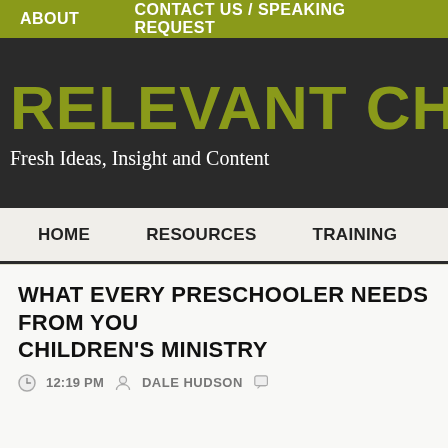ABOUT    CONTACT US / SPEAKING REQUEST
RELEVANT CHI...
Fresh Ideas, Insight and Content
HOME    RESOURCES    TRAINING    P...
WHAT EVERY PRESCHOOLER NEEDS FROM YOUR CHILDREN'S MINISTRY
12:19 PM  DALE HUDSON